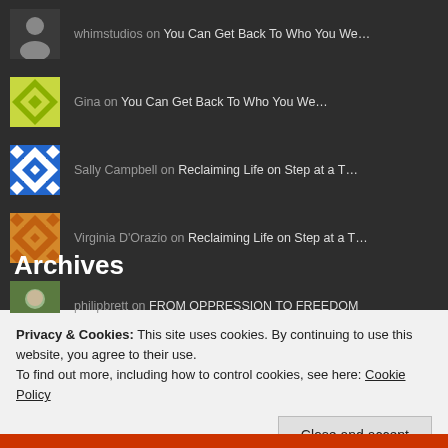whimstudios on You Can Get Back To Who You We...
Gina on You Can Get Back To Who You We...
Sally Campbell on Reclaiming Life on Step at a T...
Virginia D'Orazio on Reclaiming Life on Step at a T...
philipbrett on FROM OPPRESSION TO FREEDOM
Archives
Privacy & Cookies: This site uses cookies. By continuing to use this website, you agree to their use.
To find out more, including how to control cookies, see here: Cookie Policy
Close and accept